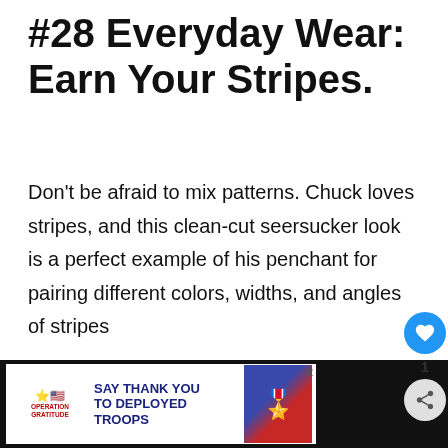#28 Everyday Wear: Earn Your Stripes.
Don't be afraid to mix patterns. Chuck loves stripes, and this clean-cut seersucker look is a perfect example of his penchant for pairing different colors, widths, and angles of stripes
[Figure (infographic): Green advertisement banner for Big Brothers Big Sisters: 'Millions of kids are growing up without a mentor. Become a Big Today. Learn How.']
[Figure (infographic): Social sidebar with blue heart icon showing count 1, and share button]